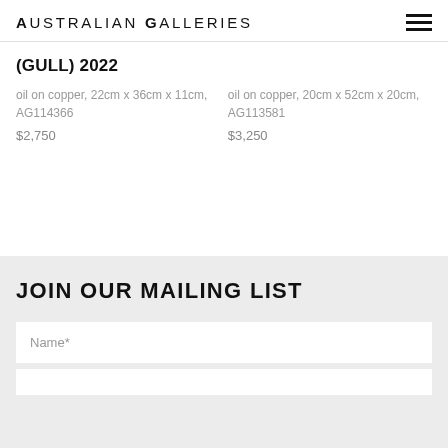Australian Galleries
(GULL) 2022
oil on copper, 22cm x 36cm x 11cm, AG114366
$2,750
oil on copper, 20cm x 52cm x 20cm, AG113581
$3,250
JOIN OUR MAILING LIST
Name*